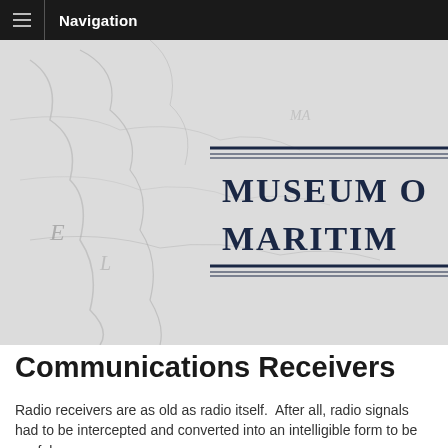Navigation
[Figure (illustration): Museum of Maritime history banner image showing an antique maritime map in light gray tones as background, with dark navy text reading 'MUSEUM OF MARITIME' overlaid with decorative double horizontal lines above and below the text, on the right side of the image.]
Communications Receivers
Radio receivers are as old as radio itself.  After all, radio signals had to be intercepted and converted into an intelligible form to be useful.